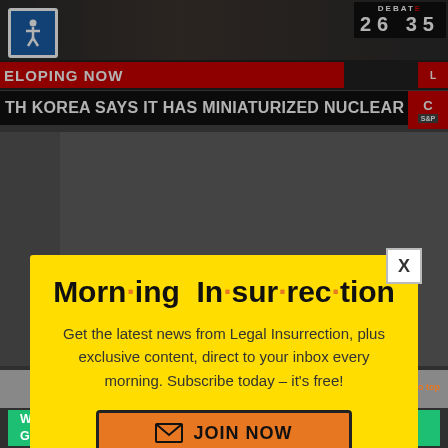[Figure (screenshot): CNN news broadcast screenshot showing debate score 26 35, developing now banner in red, headline bar reading 'TH KOREA SAYS IT HAS MINIATURIZED NUCLEAR WARHEADS']
[Figure (screenshot): Modal popup with yellow background titled 'Morn·ing In·sur·rec·tion' with orange dots as separators, subscription prompt text, and orange JOIN NOW button]
Morn·ing In·sur·rec·tion
Get the latest news from Legal Insurrection, plus exclusive content, direct to your inbox every morning. Subscribe today – it's free!
JOIN NOW
[Figure (screenshot): Bottom of page showing Google logo partially visible and a Fiverr advertisement banner]
Working from home?
Get your projects done on fiverr